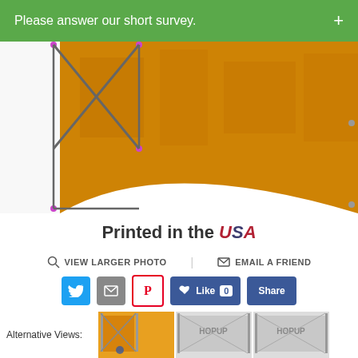Please answer our short survey.
[Figure (photo): Trade show hop-up display banner with orange printed graphic and X-frame stand, partial view showing left side of frame and banner]
Printed in the USA
VIEW LARGER PHOTO
EMAIL A FRIEND
[Figure (infographic): Social sharing buttons: Twitter, Email, Pinterest, Facebook Like (0), Facebook Share]
Alternative Views:
[Figure (photo): Three thumbnail alternative views of the hop-up display product]